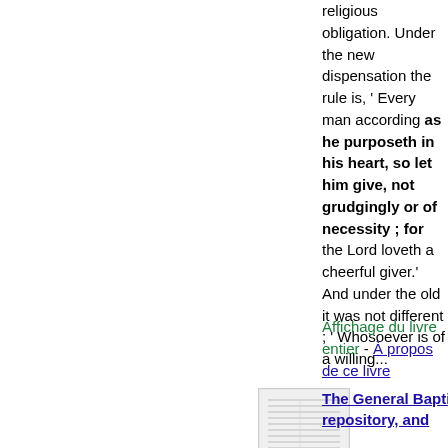religious obligation. Under the new dispensation the rule is, ' Every man according as he purposeth in his heart, so let him give, not grudgingly or of necessity ; for the Lord loveth a cheerful giver.' And under the old it was not different ; ' Whosoever is of a willing...
Affichage du livre entier - À propos de ce livre
[Figure (other): Thumbnail image of a book page with list/table content]
The General Baptist repository, and